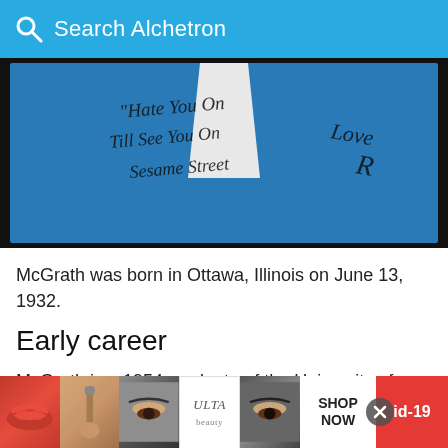Search Alchetron
[Figure (photo): Photo of a person in a blue jacket with handwritten autograph text reading 'Hate You On Till See You On Sesame Street Love R']
McGrath was born in Ottawa, Illinois on June 13, 1932.
Early career
McGrath is a 1954 graduate of the University of Michigan's School of Music. While attending Michigan, he was a member of the University of Michigan Men's Glee Club and of the fraternity of Phi Gamma... washe... Conne...
[Figure (screenshot): Advertisement banner for ULTA beauty products showing makeup imagery, 'SHOP NOW' text, and 'id-19' badge]